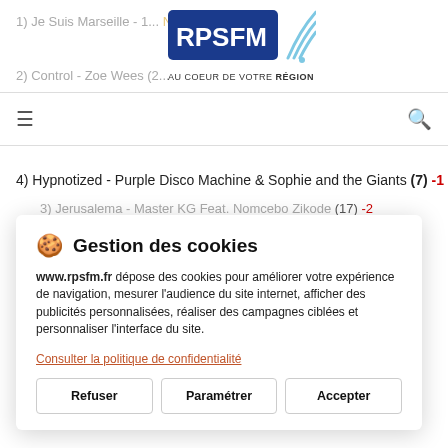[Figure (logo): RPSFM radio logo with text 'AU COEUR DE VOTRE RÉGION' on blue background with wifi signal icon]
1) Je Suis Marseille - 1... (NEW)
2) Control - Zoe Wees (2...
3) Jerusalema - Master KG Feat. Nomcebo Zikode (17) -2
4) Hypnotized - Purple Disco Machine & Sophie and the Giants (7) -1
Gestion des cookies
www.rpsfm.fr dépose des cookies pour améliorer votre expérience de navigation, mesurer l'audience du site internet, afficher des publicités personnalisées, réaliser des campagnes ciblées et personnaliser l'interface du site.
Consulter la politique de confidentialité